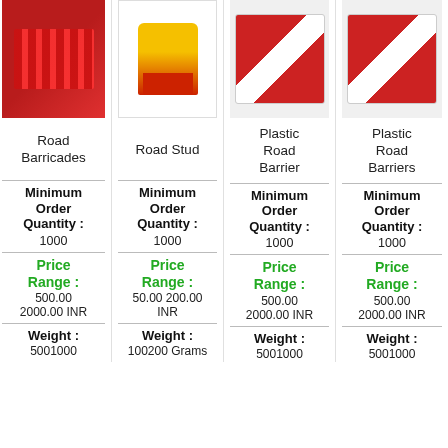[Figure (photo): Red road barricades product image (partially cut off on left)]
[Figure (photo): Yellow and red road stud product image]
[Figure (photo): Plastic road barrier product image (red and white)]
[Figure (photo): Plastic road barriers product image (partially cut off on right)]
Road Barricades
Road Stud
Plastic Road Barrier
Plastic Road Barriers
| Product | Min Order Qty | Price Range | Weight |
| --- | --- | --- | --- |
| Road Barricades | 1000 | 500.00 2000.00 INR | 5001000 |
| Road Stud | 1000 | 50.00 200.00 INR | 100200 Grams |
| Plastic Road Barrier | 1000 | 500.00 2000.00 INR | 5001000 |
| Plastic Road Barriers | 1000 | 500.00 2000.00 INR | 5001000 |